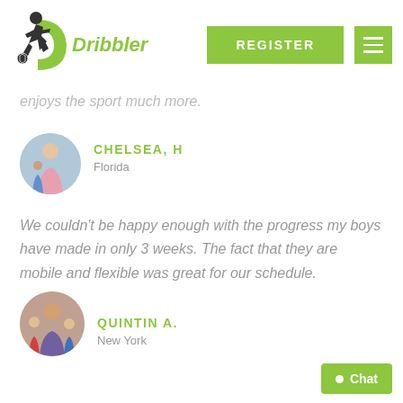[Figure (logo): Dribbler soccer app logo with soccer player silhouette and green D shape, with 'Dribbler' text in green italic]
REGISTER
enjoys the sport much more.
[Figure (photo): Circular avatar photo of Chelsea H, a woman in a pink dress outdoors with a child]
CHELSEA, H
Florida
We couldn't be happy enough with the progress my boys have made in only 3 weeks. The fact that they are mobile and flexible was great for our schedule.
[Figure (photo): Circular avatar photo of Quintin A, a man with two boys]
QUINTIN A.
New York